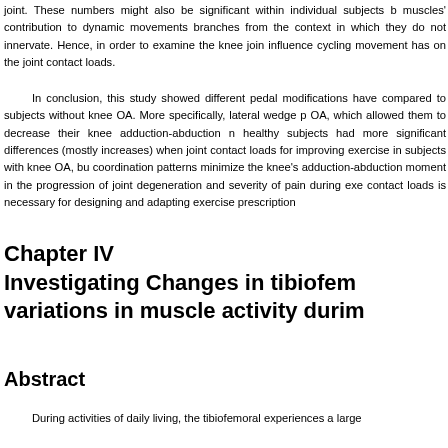joint. These numbers might also be significant within individual subjects b muscles' contribution to dynamic movements branches from the context in which they do not innervate. Hence, in order to examine the knee join influence cycling movement has on the joint contact loads.
In conclusion, this study showed different pedal modifications have compared to subjects without knee OA. More specifically, lateral wedge p OA, which allowed them to decrease their knee adduction-abduction n healthy subjects had more significant differences (mostly increases) when joint contact loads for improving exercise in subjects with knee OA, bu coordination patterns minimize the knee's adduction-abduction moment in the progression of joint degeneration and severity of pain during exe contact loads is necessary for designing and adapting exercise prescription
Chapter IV
Investigating Changes in tibiofem variations in muscle activity durim
Abstract
During activities of daily living, the tibiofemoral experiences a large